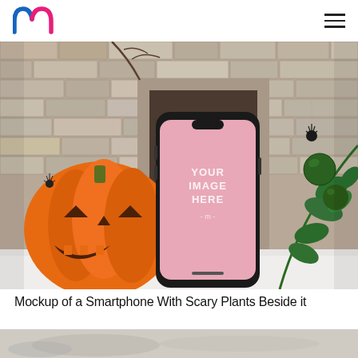m (logo) / hamburger menu
[Figure (photo): A smartphone mockup with a pink screen displaying 'YOUR IMAGE HERE' with the mocked logo, placed on a white surface in front of a stone brick wall decorated with Halloween items including an orange jack-o'-lantern pumpkin on the left, a spider, branches, and green plants and ornamental balls on the right.]
Mockup of a Smartphone With Scary Plants Beside it
[Figure (photo): Partial view of another mockup photo at the bottom of the page, showing a blurred grey/muted background scene.]